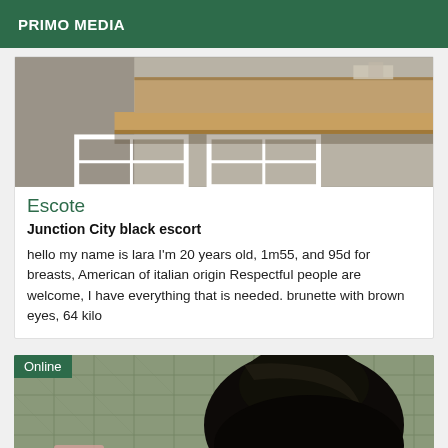PRIMO MEDIA
[Figure (photo): Interior room photo showing concrete walls, wooden shelf/counter, and white window frame structure]
Escote
Junction City black escort
hello my name is lara I'm 20 years old, 1m55, and 95d for breasts, American of italian origin Respectful people are welcome, I have everything that is needed. brunette with brown eyes, 64 kilo
[Figure (photo): Photo of person with long dark/black hair viewed from behind, with tiled wall background. Online badge overlay.]